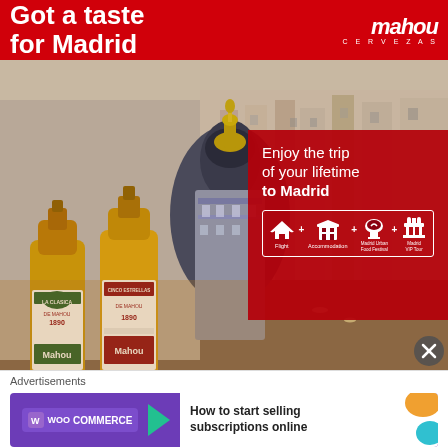Got a taste for Madrid
[Figure (illustration): Mahou Cervezas logo - white italic text 'mahou' with 'CERVEZAS' below in spaced caps]
[Figure (photo): Aerial cityscape photo of Madrid with ornate buildings including the Metropolis building, and two Mahou beer bottles (La Clasica de Mahou 1890 and Mahou Cinco Estrellas 1890) in the foreground]
Enjoy the trip of your lifetime to Madrid
[Figure (infographic): Icons row inside white border box: airplane (Flight) + building grid (Accommodation) + domed building (Madrid Urban Food Festival) + columned building (Madrid VIP Tour)]
[Figure (other): Close/X button circle in bottom right of Mahou ad]
Advertisements
[Figure (illustration): WooCommerce banner ad: purple background with WooCommerce logo and green arrow on left, white section on right reading 'How to start selling subscriptions online' with orange and teal decorative shapes]